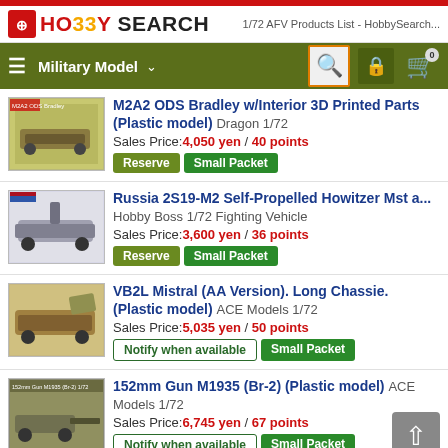HobbySearch | Military Model | 1/72 AFV Products List - HobbySearch...
M2A2 ODS Bradley w/Interior 3D Printed Parts (Plastic model) Dragon 1/72 | Sales Price: 4,050 yen / 40 points | Reserve | Small Packet
Russia 2S19-M2 Self-Propelled Howitzer Mst a... Hobby Boss 1/72 Fighting Vehicle | Sales Price: 3,600 yen / 36 points | Reserve | Small Packet
VB2L Mistral (AA Version). Long Chassie. (Plastic model) ACE Models 1/72 | Sales Price: 5,035 yen / 50 points | Notify when available | Small Packet
152mm Gun M1935 (Br-2) (Plastic model) ACE Models 1/72 | Sales Price: 6,745 yen / 67 points | Notify when available | Small Packet